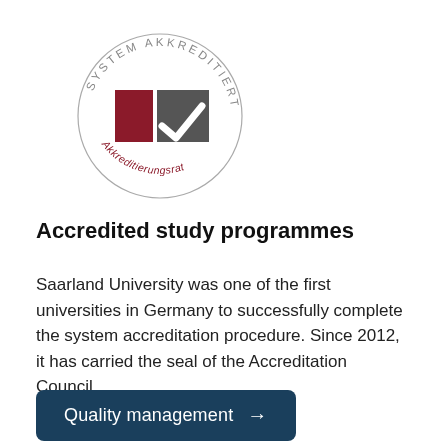[Figure (logo): System Akkreditiert seal/logo from the Akkreditierungsrat (German Accreditation Council). Circular text 'SYSTEM AKKREDITIERT' at top in gray, two vertical rectangles (dark red and dark gray) with a white checkmark overlaid on the right rectangle, and curved text 'Akkreditierungsrat' in dark red at the bottom.]
Accredited study programmes
Saarland University was one of the first universities in Germany to successfully complete the system accreditation procedure. Since 2012, it has carried the seal of the Accreditation Council.
Quality management →